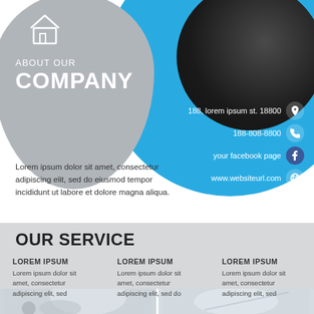ABOUT OUR COMPANY
188, lorem ipsum st. 18800
188-808-8800
your facebook page
www.websiteurl.com
Lorem ipsum dolor sit amet, consectetur adipiscing elit, sed do eiusmod tempor incididunt ut labore et dolore magna aliqua.
OUR SERVICE
LOREM IPSUM
Lorem ipsum dolor sit amet, consectetur adipiscing elit, sed
LOREM IPSUM
Lorem ipsum dolor sit amet, consectetur adipiscing elit, sed do
LOREM IPSUM
Lorem ipsum dolor sit amet, consectetur adipiscing elit, sed
[Figure (photo): Two photographs at the bottom of the page showing objects on light background]